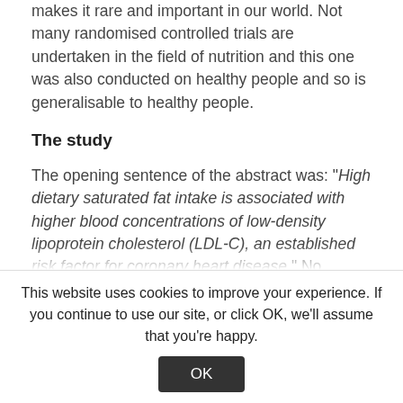makes it rare and important in our world. Not many randomised controlled trials are undertaken in the field of nutrition and this one was also conducted on healthy people and so is generalisable to healthy people.
The study
The opening sentence of the abstract was: "High dietary saturated fat intake is associated with higher blood concentrations of low-density lipoprotein cholesterol (LDL-C), an established risk factor for coronary heart disease." No reference for this was given. It’s one of those deeply held beliefs – rather like the calorie theory
This website uses cookies to improve your experience. If you continue to use our site, or click OK, we’ll assume that you’re happy.